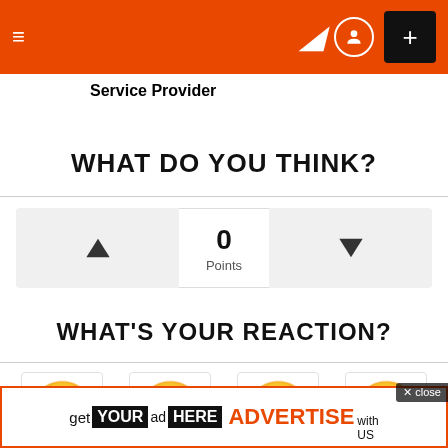≡  ) ⊕  +
Service Provider
WHAT DO YOU THINK?
▲  0 Points  ▼
WHAT'S YOUR REACTION?
[Figure (infographic): Four emoji faces in a reaction row: angry face, loudly crying face, kissing face with heart, squinting face with big grin]
get YOUR ad HERE ADVERTISE with US
✕ close